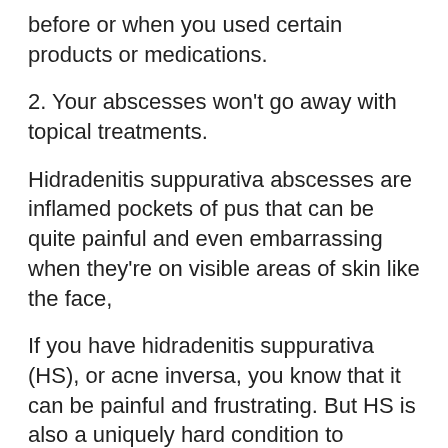before or when you used certain products or medications.
2. Your abscesses won't go away with topical treatments.
Hidradenitis suppurativa abscesses are inflamed pockets of pus that can be quite painful and even embarrassing when they're on visible areas of skin like the face,
If you have hidradenitis suppurativa (HS), or acne inversa, you know that it can be painful and frustrating. But HS is also a uniquely hard condition to manage because it's so hard to tell when it's serious.